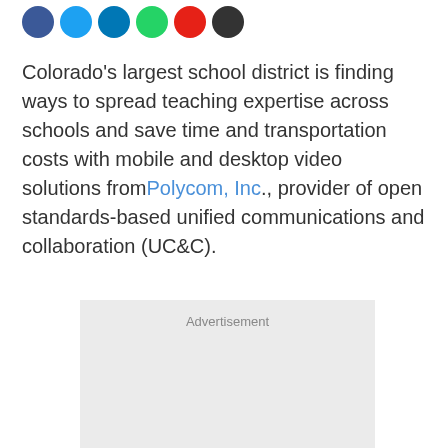[Figure (other): Row of social media icon circles: Facebook (blue), Twitter (light blue), LinkedIn (dark blue), WhatsApp (green), Flipboard (red), Email (dark grey)]
Colorado's largest school district is finding ways to spread teaching expertise across schools and save time and transportation costs with mobile and desktop video solutions from Polycom, Inc., provider of open standards-based unified communications and collaboration (UC&C).
[Figure (other): Advertisement placeholder box with light grey background and the label 'Advertisement' at the top center.]